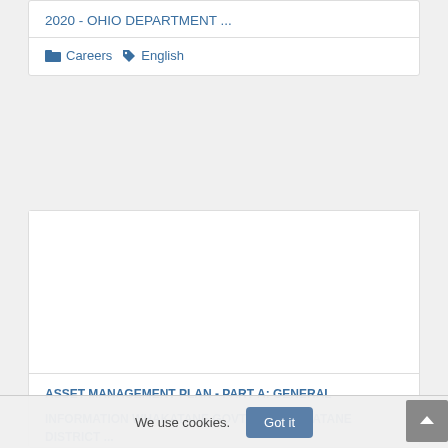2020 - OHIO DEPARTMENT ...
Careers  English
[Figure (other): Empty white image area inside a card with border]
ASSET MANAGEMENT PLAN - PART A: GENERAL INFORMATION WHAKATANE.GOVT.NZ - WHAKATANE DISTRICT ...
We use cookies.
Got it